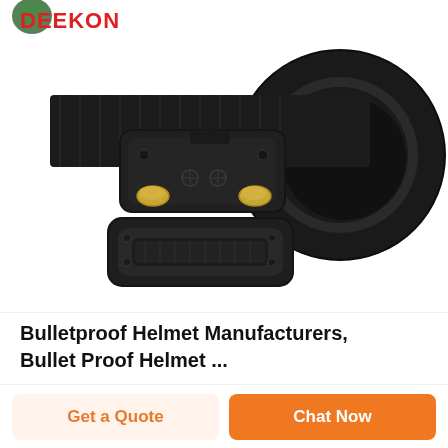[Figure (photo): Close-up photo of a black tactical/military belt coiled with a metal quick-release buckle featuring golden prongs, on a white background. DEEKON logo visible at top left.]
Bulletproof Helmet Manufacturers, Bullet Proof Helmet ...
Get a Quote
Chat Now